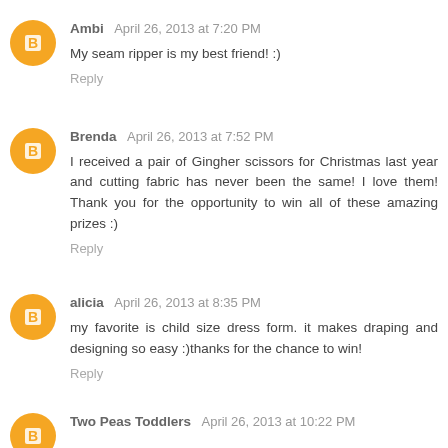Ambi  April 26, 2013 at 7:20 PM
My seam ripper is my best friend! :)
Reply
Brenda  April 26, 2013 at 7:52 PM
I received a pair of Gingher scissors for Christmas last year and cutting fabric has never been the same! I love them! Thank you for the opportunity to win all of these amazing prizes :)
Reply
alicia  April 26, 2013 at 8:35 PM
my favorite is child size dress form. it makes draping and designing so easy :)thanks for the chance to win!
Reply
Two Peas Toddlers  April 26, 2013 at 10:22 PM